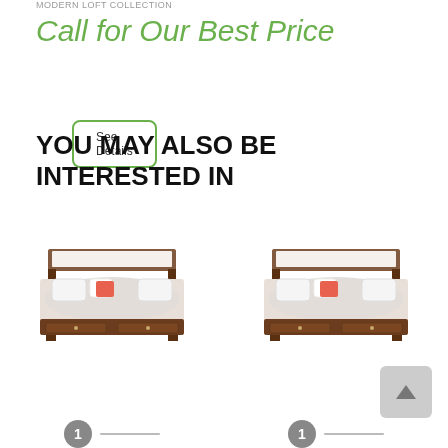MODERN LOFT COLLECTION
Call for Our Best Price
See Details
YOU MAY ALSO BE INTERESTED IN
[Figure (photo): Two wooden platform bed frames with white bedding and orange/coral accent pillows, displayed side by side as product images]
[Figure (illustration): Scroll-to-top button (gray rounded square with upward arrow) at bottom right]